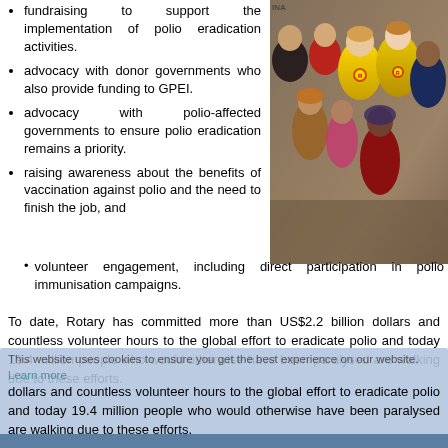fundraising to support the implementation of polio eradication activities.
advocacy with donor governments who also provide funding to GPEI.
advocacy with polio-affected governments to ensure polio eradication remains a priority.
raising awareness about the benefits of vaccination against polio and the need to finish the job, and
volunteer engagement, including direct participation in polio immunisation campaigns.
[Figure (photo): Group photo of volunteers in yellow Rotary vests with local people, including children, in what appears to be a developing country setting.]
To date, Rotary has committed more than US$2.2 billion dollars and countless volunteer hours to the global effort to eradicate polio and today 19.4 million people who would otherwise have been paralysed are walking due to these efforts.
This website uses cookies to ensure you get the best experience on our website. Learn more
GOT IT!